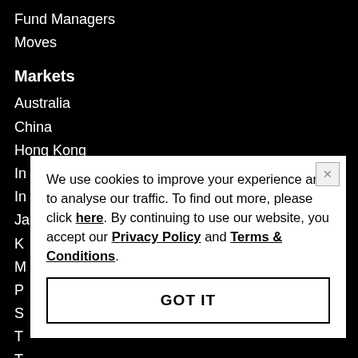Fund Managers
Moves
Markets
Australia
China
Hong Kong
In...
In...
Ja...
K...
M...
P...
S...
T...
T...
V...
Ww...
We use cookies to improve your experience and to analyse our traffic. To find out more, please click here. By continuing to use our website, you accept our Privacy Policy and Terms & Conditions.
GOT IT